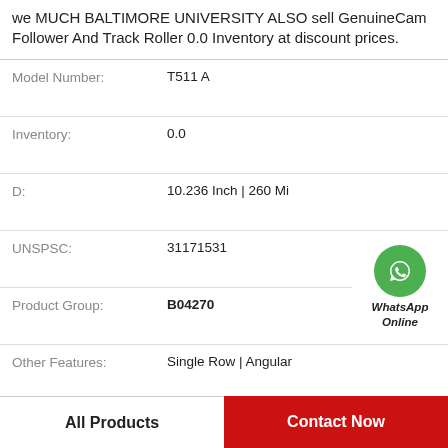We MUCH BALTIMORE UNIVERSITY ALSO sell GenuineCam Follower And Track Roller 0.0 Inventory at discount prices.
| Field | Value |
| --- | --- |
| Model Number: | T511 A |
| Inventory: | 0.0 |
| D: | 10.236 Inch | 260 Mi |
| UNSPSC: | 31171531 |
| Product Group: | B04270 |
| Other Features: | Single Row | Angular |
| Harmonized Tariff Code: | 8482.10.50.28 |
| Manufacturer Name: | SKF |
[Figure (logo): WhatsApp Online green phone icon with text WhatsApp Online]
All Products
Contact Now